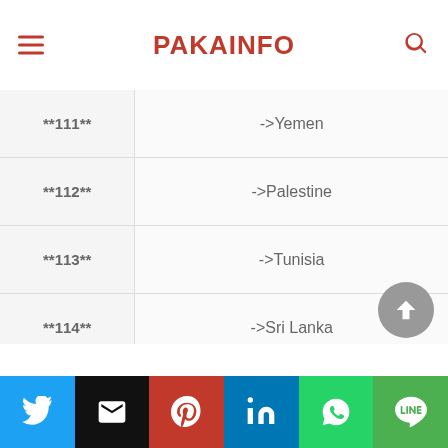PAKAINFO
| Code | Country |
| --- | --- |
| **111** | ->Yemen |
| **112** | ->Palestine |
| **113** | ->Tunisia |
| **114** | ->Sri Lanka |
| **115** | ->Venezuela |
|  |  |
Twitter | Email | Pinterest | LinkedIn | WhatsApp | Line